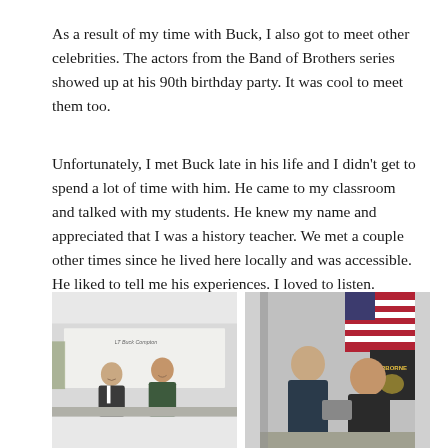As a result of my time with Buck, I also got to meet other celebrities. The actors from the Band of Brothers series showed up at his 90th birthday party. It was cool to meet them too.
Unfortunately, I met Buck late in his life and I didn't get to spend a lot of time with him. He came to my classroom and talked with my students. He knew my name and appreciated that I was a history teacher. We met a couple other times since he lived here locally and was accessible. He liked to tell me his experiences. I loved to listen.
[Figure (photo): Two men standing together in a classroom in front of a whiteboard that reads 'LT Buck Compton'. An older man on the left and a younger man on the right, both smiling.]
[Figure (photo): Two men seated together with an American flag and what appears to be an Airborne military banner in the background. An elderly man and a younger man appear to be looking at something together.]